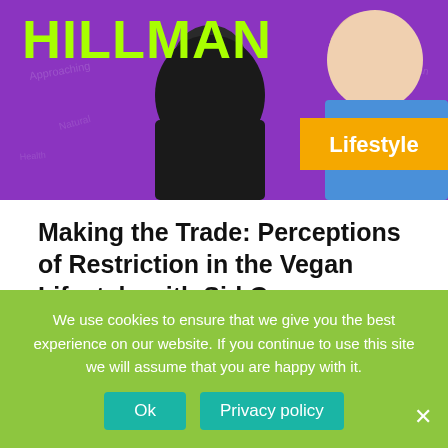[Figure (photo): Purple background header image with two people (a man and a woman) smiling, with text 'HILLMAN' in green at the top left, and an orange 'Lifestyle' badge in the upper right.]
Making the Trade: Perceptions of Restriction in the Vegan Lifestyle with Sid Garza-Hillman
SID GARZA-HILLMAN Sid Garza-Hillman is the author of Approaching the Natural: A Health Manifesto and Raising Healthy Parents: Small Steps, Less Stress, and a Thriving Family. He holds a BA in Philosophy from UCLA, is a public speaker, podcaster (What Sid
We use cookies to ensure that we give you the best experience on our website. If you continue to use this site we will assume that you are happy with it.
Ok
Privacy policy